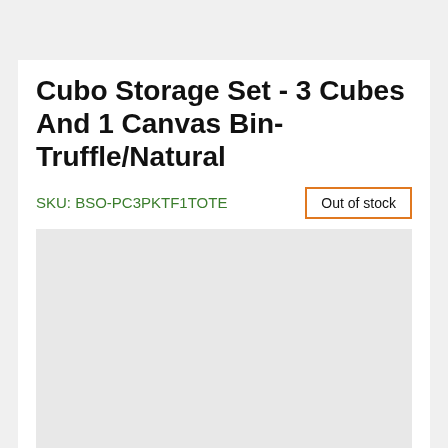Cubo Storage Set - 3 Cubes And 1 Canvas Bin- Truffle/Natural
SKU: BSO-PC3PKTF1TOTE
Out of stock
[Figure (other): Light gray image placeholder area for product image]